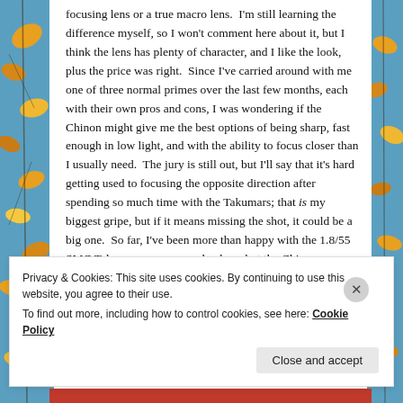focusing lens or a true macro lens.  I'm still learning the difference myself, so I won't comment here about it, but I think the lens has plenty of character, and I like the look, plus the price was right.  Since I've carried around with me one of three normal primes over the last few months, each with their own pros and cons, I was wondering if the Chinon might give me the best options of being sharp, fast enough in low light, and with the ability to focus closer than I usually need.  The jury is still out, but I'll say that it's hard getting used to focusing the opposite direction after spending so much time with the Takumars; that is my biggest gripe, but if it means missing the shot, it could be a big one.  So far, I've been more than happy with the 1.8/55 SMC Takumar as my everyday lens, but the Chinon
Privacy & Cookies: This site uses cookies. By continuing to use this website, you agree to their use.
To find out more, including how to control cookies, see here: Cookie Policy